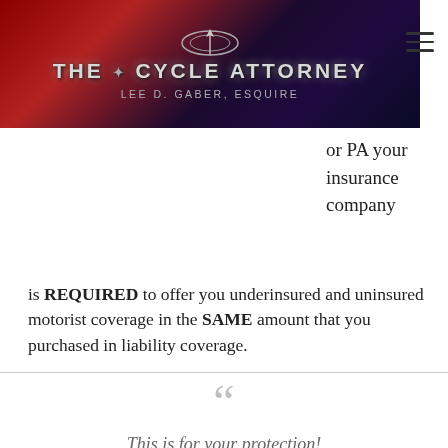[Figure (logo): The Cycle Attorney logo header image with dark red and blue/purple gradient background, silver decorative emblem at top, text 'THE CYCLE ATTORNEY' in metallic uppercase letters and 'Lee D. Gaber, Esquire' subtitle below]
or PA your insurance company is REQUIRED to offer you underinsured and uninsured motorist coverage in the SAME amount that you purchased in liability coverage.
The operative words here are “required” and the “same amount”.
This is for your protection!